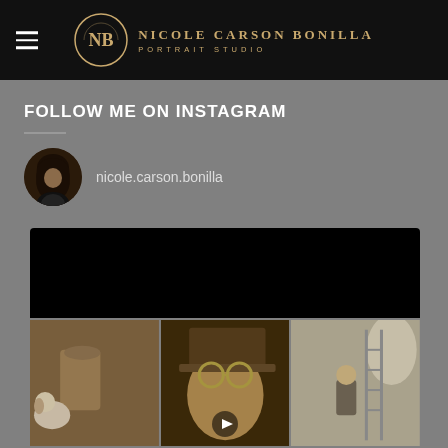[Figure (logo): Nicole Carson Bonilla Portrait Studio logo - circular gold emblem with NB monogram on black header bar with hamburger menu]
FOLLOW ME ON INSTAGRAM
[Figure (photo): Circular profile photo of Nicole Carson Bonilla - woman with dark hair in black outfit]
nicole.carson.bonilla
[Figure (photo): Instagram feed grid: top black video area, bottom row of three photos - boy with dog in steampunk style, close-up of teen with hat and goggles, behind-the-scenes studio shot with man and ladder]